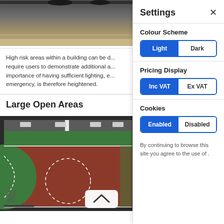[Figure (photo): Top photograph showing an indoor scene, partially visible, dark tones with beige/tan wall visible at bottom]
High risk areas within a building can be ... require users to demonstrate additional ... importance of having sufficient lighting, e... emergency, is therefore heightened.
Large Open Areas
[Figure (photo): Aerial view of a basketball/sports court with red and green surface markings and white dashed lines]
Settings ×
Colour Scheme
[Figure (other): Toggle button group: Light (active/blue) | Dark (inactive)]
Pricing Display
[Figure (other): Toggle button group: Inc VAT (active/blue) | Ex VAT (inactive)]
Cookies
[Figure (other): Toggle button group: Enabled (active/blue) | Disabled (inactive)]
By continuing to browse this site you agree to the use of .